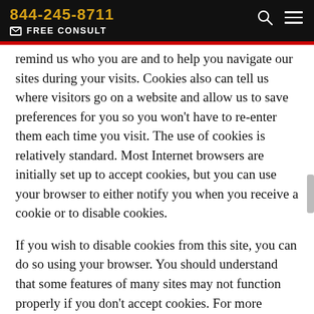844-245-8711  FREE CONSULT
remind us who you are and to help you navigate our sites during your visits. Cookies also can tell us where visitors go on a website and allow us to save preferences for you so you won't have to re-enter them each time you visit. The use of cookies is relatively standard. Most Internet browsers are initially set up to accept cookies, but you can use your browser to either notify you when you receive a cookie or to disable cookies.
If you wish to disable cookies from this site, you can do so using your browser. You should understand that some features of many sites may not function properly if you don't accept cookies. For more information about cookies...